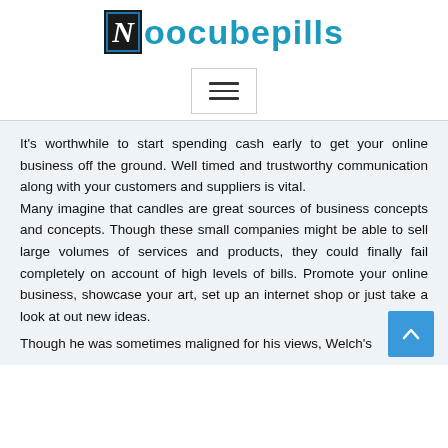[Figure (logo): Noocubepills website logo with a dark box containing a stylized italic N and the text 'Noocubepills' in teal/blue]
[Figure (other): Hamburger menu button with three horizontal lines inside a bordered rectangle]
It's worthwhile to start spending cash early to get your online business off the ground. Well timed and trustworthy communication along with your customers and suppliers is vital.
Many imagine that candles are great sources of business concepts and concepts. Though these small companies might be able to sell large volumes of services and products, they could finally fail completely on account of high levels of bills. Promote your online business, showcase your art, set up an internet shop or just take a look at out new ideas.
Though he was sometimes maligned for his views, Welch's